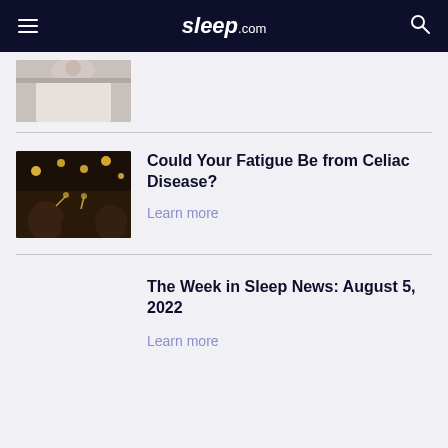sleep.com
[Figure (photo): Partial photo of person in bed, top portion only visible]
[Figure (photo): People toasting drinks at a dimly lit dinner party with string lights overhead]
Could Your Fatigue Be from Celiac Disease?
Learn more
The Week in Sleep News: August 5, 2022
Learn more